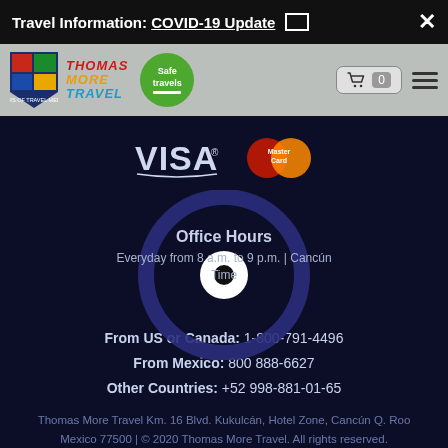Travel Information: COVID-19 Update
[Figure (logo): Thomas More Travel logo with shield emblem and Safe Travels badge, navigation bar with cart and hamburger menu]
[Figure (logo): VISA and MasterCard payment logos on dark background]
[Figure (infographic): Dark blue circle with record/target icon overlay containing Office Hours and schedule text]
Office Hours
Everyday from 8 a.m. to 9 p.m. | Cancún Time
From US or Canada: 1-800-791-4496
From Mexico: 800 888-6627
Other Countries: +52 998-881-01-65
Thomas More Travel Km. 16 Blvd. Kukulcán, Hotel Zone, Cancún Q. Roo Mexico 77500 | © 2020 Thomas More Travel. All rights reserved.